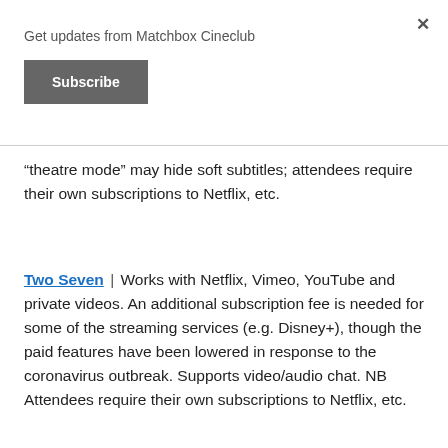Get updates from Matchbox Cineclub
Subscribe
“theatre mode” may hide soft subtitles; attendees require their own subscriptions to Netflix, etc.
Two Seven | Works with Netflix, Vimeo, YouTube and private videos. An additional subscription fee is needed for some of the streaming services (e.g. Disney+), though the paid features have been lowered in response to the coronavirus outbreak. Supports video/audio chat. NB Attendees require their own subscriptions to Netflix, etc.